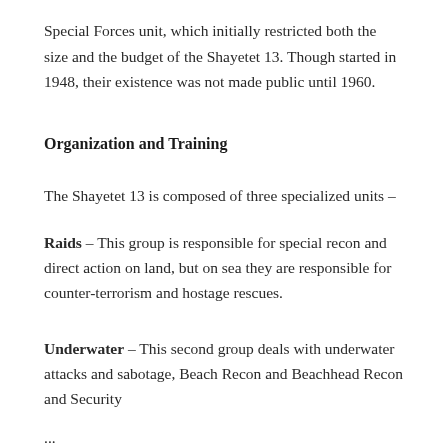Special Forces unit, which initially restricted both the size and the budget of the Shayetet 13. Though started in 1948, their existence was not made public until 1960.
Organization and Training
The Shayetet 13 is composed of three specialized units –
Raids – This group is responsible for special recon and direct action on land, but on sea they are responsible for counter-terrorism and hostage rescues.
Underwater – This second group deals with underwater attacks and sabotage, Beach Recon and Beachhead Recon and Security
...